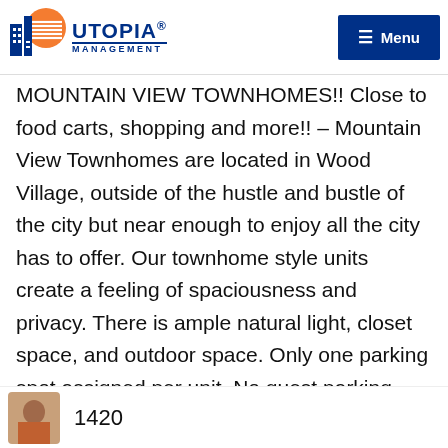UTOPIA MANAGEMENT — Menu
MOUNTAIN VIEW TOWNHOMES!! Close to food carts, shopping and more!! – Mountain View Townhomes are located in Wood Village, outside of the hustle and bustle of the city but near enough to enjoy all the city has to offer. Our townhome style units create a feeling of spaciousness and privacy. There is ample natural light, closet space, and outdoor space. Only one parking spot assigned per unit. No guest parking onsite. We are a pet friendly community. There is a spacious yard for dogs and residents to enjoy. UTILITIES: W/S/G
1420